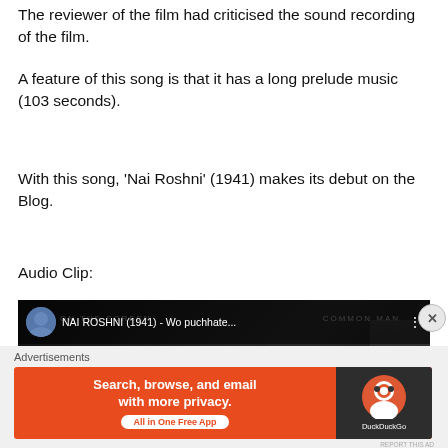The reviewer of the film had criticised the sound recording of the film.
A feature of this song is that it has a long prelude music (103 seconds).
With this song, ‘Nai Roshni’ (1941) makes its debut on the Blog.
Audio Clip:
[Figure (screenshot): YouTube video embed showing NAI ROSHNI (1941) - Wo puchhate... with film title screen showing 'Nai Roshni' text and a red YouTube play button]
Advertisements
[Figure (other): DuckDuckGo advertisement banner: Search, browse, and email with more privacy. All in One Free App - with DuckDuckGo logo on dark background]